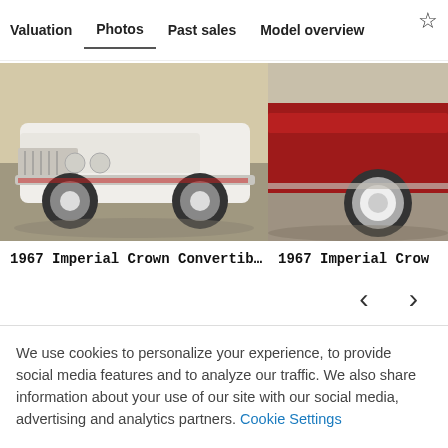Valuation  Photos  Past sales  Model overview
[Figure (photo): Front view of a white 1967 Imperial Crown Convertible classic car in a garage]
[Figure (photo): Partial view of a red 1967 Imperial Crown classic car showing the rear wheel area in a garage]
1967 Imperial Crown Convertib…
1967 Imperial Crow
We use cookies to personalize your experience, to provide social media features and to analyze our traffic. We also share information about your use of our site with our social media, advertising and analytics partners. Cookie Settings
Accept all cookies